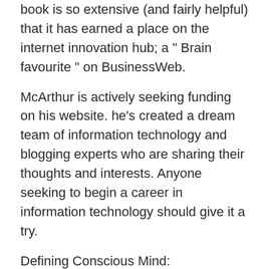book is so extensive (and fairly helpful) that it has earned a place on the internet innovation hub; a " Brain favourite " on BusinessWeb.
McArthur is actively seeking funding on his website. he's created a dream team of information technology and blogging experts who are sharing their thoughts and interests. Anyone seeking to begin a career in information technology should give it a try.
Defining Conscious Mind:
Conscious Mind is defined as the part of the brain that has the concept of self-awareness, the ability to monitor thoughts and self-combine them mentally, and relate them to the physical world around us. It is the seat of the subconscious mind, which is constantly trying to communicate to the conscious mind.